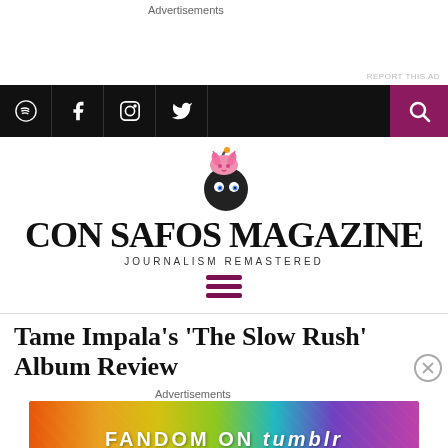Advertisements
REPORT THIS AD
[Figure (screenshot): Navigation bar with Spotify, Facebook, Instagram, Twitter icons on black background, and magenta search button on right]
[Figure (logo): Con Safos Magazine logo with pink axolotl creature on bomb illustration]
CON SAFOS MAGAZINE
JOURNALISM REMASTERED
[Figure (other): Hamburger menu icon with three magenta horizontal lines]
Tame Impala’s ‘The Slow Rush’ Album Review
Advertisements
[Figure (other): Fandom on Tumblr colorful advertisement banner with gradient orange to purple background]